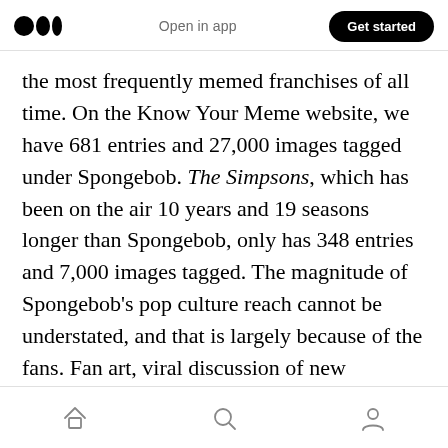Open in app | Get started
the most frequently memed franchises of all time. On the Know Your Meme website, we have 681 entries and 27,000 images tagged under Spongebob. The Simpsons, which has been on the air 10 years and 19 seasons longer than Spongebob, only has 348 entries and 7,000 images tagged. The magnitude of Spongebob's pop culture reach cannot be understated, and that is largely because of the fans. Fan art, viral discussion of new episodes that morph into memes and reaction gifs, they've become milestones that supersede intellectual property.
Home | Search | Profile